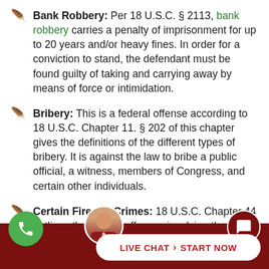Bank Robbery: Per 18 U.S.C. § 2113, bank robbery carries a penalty of imprisonment for up to 20 years and/or heavy fines. In order for a conviction to stand, the defendant must be found guilty of taking and carrying away by means of force or intimidation.
Bribery: This is a federal offense according to 18 U.S.C. Chapter 11. § 202 of this chapter gives the definitions of the different types of bribery. It is against the law to bribe a public official, a witness, members of Congress, and certain other individuals.
Certain Firearm Crimes: 18 U.S.C. Chapter 44 outlines the federal offenses involving the use [of firearms]...